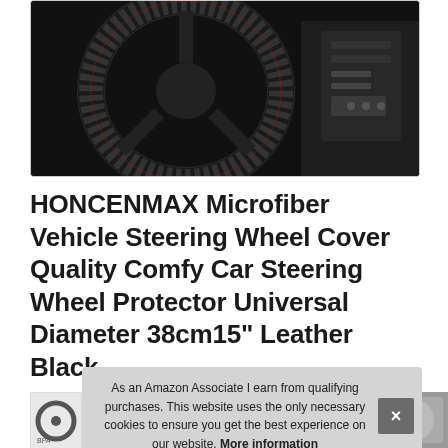[Figure (photo): Dark close-up photo of a steering wheel cover installed on a vehicle steering wheel, showing black microfiber/leather texture with dark car interior in background]
HONCENMAX Microfiber Vehicle Steering Wheel Cover Quality Comfy Car Steering Wheel Protector Universal Diameter 38cm15" Leather Black
[Figure (screenshot): Cookie consent overlay banner with text: As an Amazon Associate I earn from qualifying purchases. This website uses the only necessary cookies to ensure you get the best experience on our website. More information — with an X close button on the right]
As an Amazon Associate I earn from qualifying purchases. This website uses the only necessary cookies to ensure you get the best experience on our website. More information